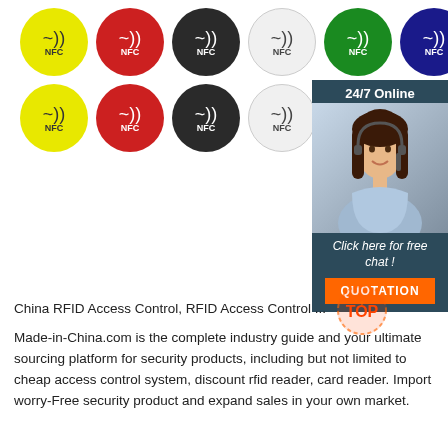[Figure (illustration): Grid of 11 NFC sticker circles in various colors (yellow, red, dark/black, white, green, navy blue) arranged in two rows, each showing NFC wireless symbol and 'NFC' text below it]
[Figure (infographic): 24/7 online chat widget with a woman wearing a headset, text 'Click here for free chat!' and an orange 'QUOTATION' button on a dark teal background]
[Figure (logo): Orange and red 'TOP' badge/stamp graphic]
China RFID Access Control, RFID Access Control ...
Made-in-China.com is the complete industry guide and your ultimate sourcing platform for security products, including but not limited to cheap access control system, discount rfid reader, card reader. Import worry-Free security product and expand sales in your own market.